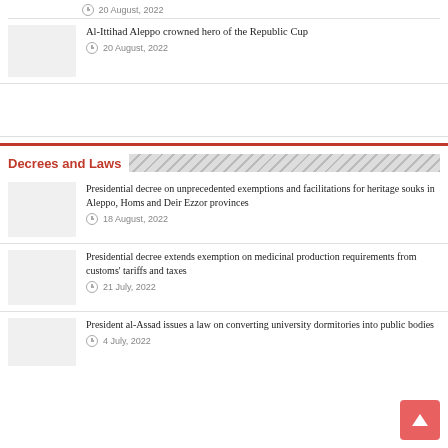20 August, 2022
Al-Ittihad Aleppo crowned hero of the Republic Cup
20 August, 2022
Decrees and Laws
Presidential decree on unprecedented exemptions and facilitations for heritage souks in Aleppo, Homs and Deir Ezzor provinces
18 August, 2022
Presidential decree extends exemption on medicinal production requirements from customs' tariffs and taxes
21 July, 2022
President al-Assad issues a law on converting university dormitories into public bodies
4 July, 2022